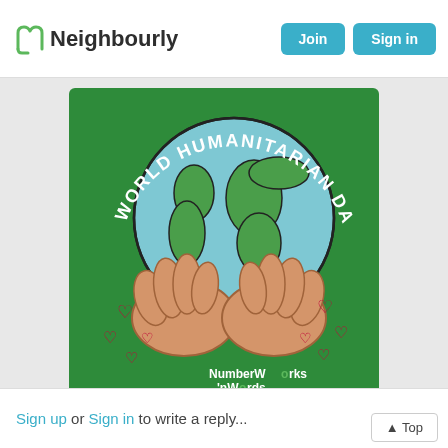Neighbourly — Join | Sign in
[Figure (illustration): World Humanitarian Day illustration on green background: globe held by two hands, surrounded by red hearts, with text 'WORLD HUMANITARIAN DAY' arced above and 'NumberWorks nWords' logo at the bottom.]
Sign up or Sign in to write a reply...